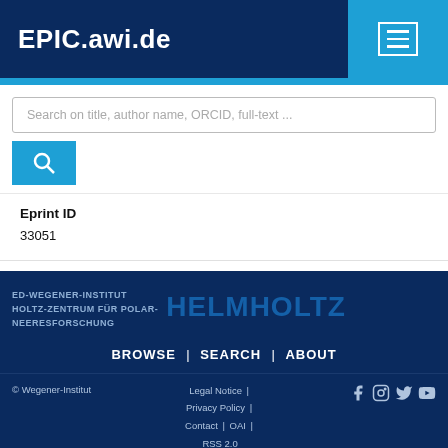EPIC.awi.de
Search on title, author name, ORCID, full-text ...
Eprint ID
33051
ED-WEGENER-INSTITUT HOLTZ-ZENTRUM FÜR POLAR-NEERESFORSCHUNG | HELMHOLTZ | BROWSE | SEARCH | ABOUT | © Wegener-Institut | Legal Notice | Privacy Policy | Contact | OAI | RSS 2.0